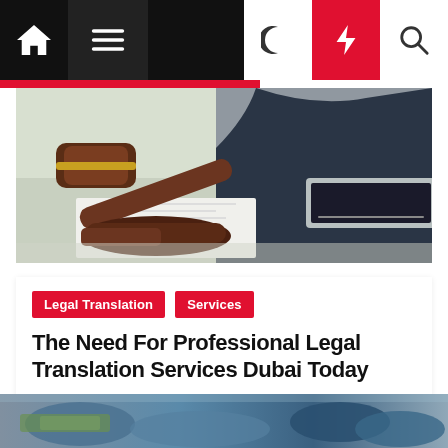[Figure (screenshot): Website navigation bar with home icon, hamburger menu, moon/dark mode icon, red lightning bolt icon, and search icon on dark background]
[Figure (photo): Judge's gavel on a desk with a person in a suit working on a laptop in the background]
Legal Translation
Services
The Need For Professional Legal Translation Services Dubai Today
Minnie Jacobs  6 days ago
[Figure (photo): Partial bottom image strip, appears to show hands and medical/legal documents in blue tones]